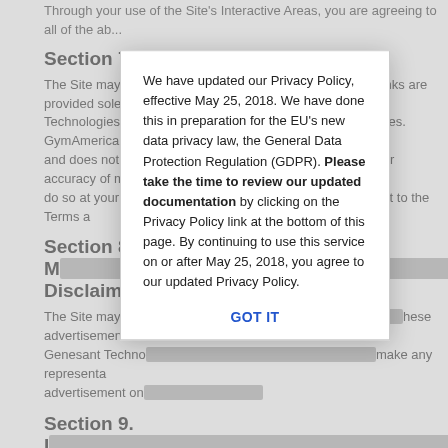Through your use of the Site's Interactive Areas, you are agreeing to all of the ab...
Section 7. Links to Other Sites.
The Site may contain links to third party Web sites. These links are provided sole... Technologies, Inc. of the content on such third-party Web sites. GymAmerica and... and does not mak... nt or accuracy of ma... do so at your own... ubject to the Terms a...
Section 8. M... et Disclaimer.
The Site may con... hese advertisements... Genesant Techno... make any representa... advertisement on...
Section 9. I...
The Site may con... nts ("Advertisements")... Services ("Produ... ks to other Web sites... otherwise specifi... echnologies, Inc. do n... any materials co... on the Site. In no eve... on the Site be lia... , without limitation, in... lost data or busi... or related to, any Pro... possibility of such...
We have updated our Privacy Policy, effective May 25, 2018. We have done this in preparation for the EU's new data privacy law, the General Data Protection Regulation (GDPR). Please take the time to review our updated documentation by clicking on the Privacy Policy link at the bottom of this page. By continuing to use this service on or after May 25, 2018, you agree to our updated Privacy Policy.
GOT IT
Section 10. Export Control.